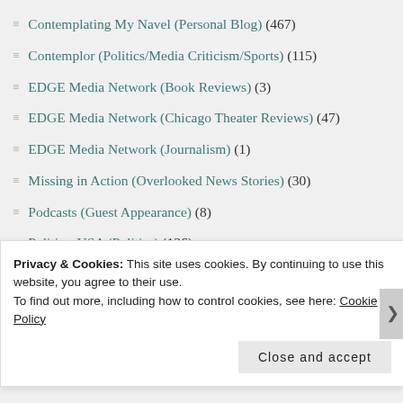Contemplating My Navel (Personal Blog) (467)
Contemplor (Politics/Media Criticism/Sports) (115)
EDGE Media Network (Book Reviews) (3)
EDGE Media Network (Chicago Theater Reviews) (47)
EDGE Media Network (Journalism) (1)
Missing in Action (Overlooked News Stories) (30)
Podcasts (Guest Appearance) (8)
PoliticusUSA (Politics) (136)
Rac/Search (Social/Political Commentary) (18)
Privacy & Cookies: This site uses cookies. By continuing to use this website, you agree to their use.
To find out more, including how to control cookies, see here: Cookie Policy
Close and accept